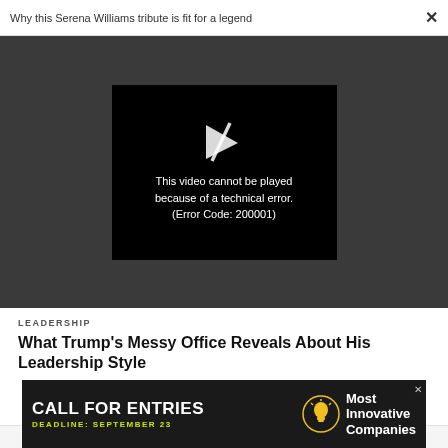Why this Serena Williams tribute is fit for a legend ×
[Figure (screenshot): Video player error screen on dark grey background. Black video box shows a broken play button icon and text: 'This video cannot be played because of a technical error. (Error Code: 200001)']
LEADERSHIP
What Trump's Messy Office Reveals About His Leadership Style
[Figure (infographic): Advertisement banner: 'CALL FOR ENTRIES — DEADLINE: SEPTEMBER 23 — Most Innovative Companies' with lightbulb icon, dark background, yellow deadline text.]